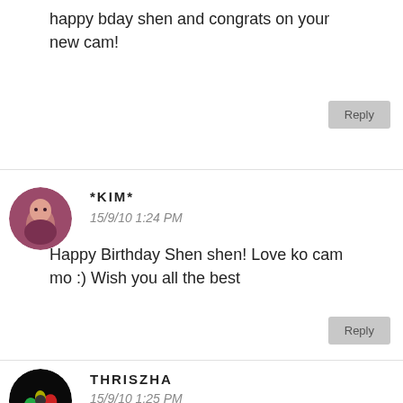happy bday shen and congrats on your new cam!
Reply
*KIM*
15/9/10 1:24 PM
Happy Birthday Shen shen! Love ko cam mo :) Wish you all the best
Reply
THRISZHA
15/9/10 1:25 PM
happy bday to u sweety!!